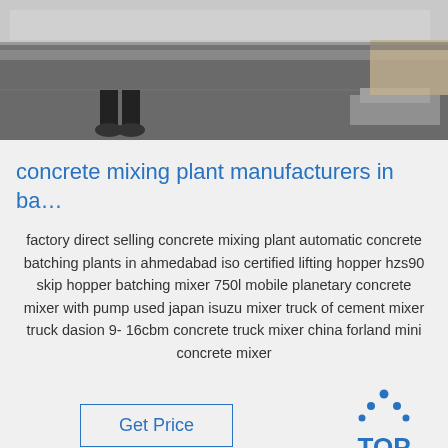[Figure (photo): Industrial warehouse floor scene with workers and equipment, concrete mixing plant machinery visible]
concrete mixing plant manufacturers in ba…
factory direct selling concrete mixing plant automatic concrete batching plants in ahmedabad iso certified lifting hopper hzs90 skip hopper batching mixer 750l mobile planetary concrete mixer with pump used japan isuzu mixer truck of cement mixer truck dasion 9- 16cbm concrete truck mixer china forland mini concrete mixer
[Figure (logo): TOP logo with blue dots arranged in triangle above blue text TOP]
[Figure (photo): Industrial warehouse interior with green floor markings and stacked materials]